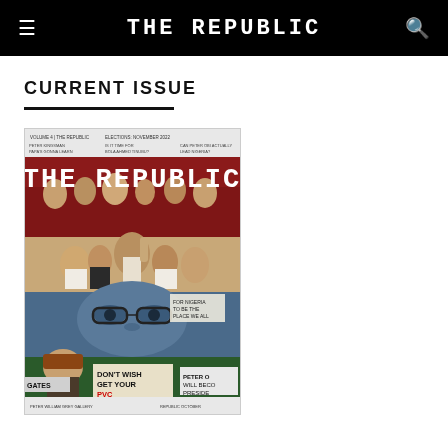THE REPUBLIC
CURRENT ISSUE
[Figure (illustration): Magazine cover of The Republic showing political figures, protest scenes, and 'DON'T WISH GET YOUR PVC' signage. Cover features red masthead area with 'THE REPUBLIC' title in large white letters, collage of Nigerian political scenes including crowds, a prominent face with glasses, and protest banners.]